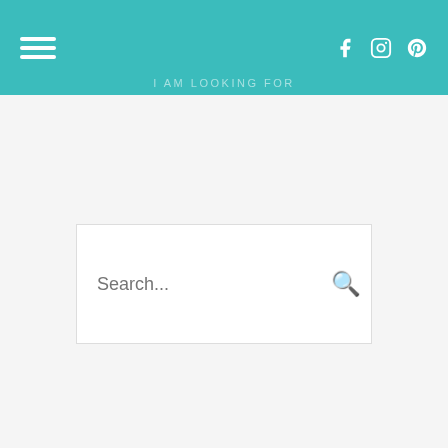I AM LOOKING FOR
Search...
FOLLOW BLOG VIA EMAIL
Enter your email address to follow this blog and receive notifications of new posts by email.
Email Address